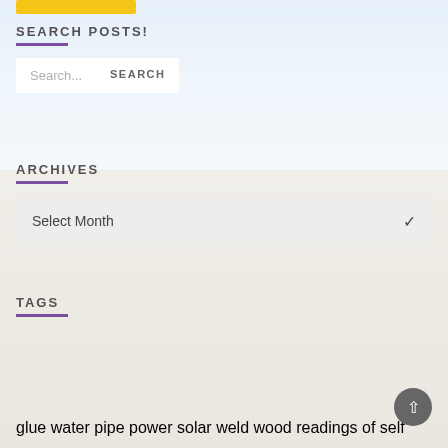[Figure (photo): Faded landscape background with sky and canyon/desert terrain]
SEARCH POSTS!
Search...
ARCHIVES
Select Month
TAGS
glue water pipe power solar weld wood readings of self